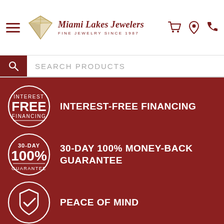Miami Lakes Jewelers — Fine Jewelry Since 1987
SEARCH PRODUCTS
INTEREST-FREE FINANCING
30-DAY 100% MONEY-BACK GUARANTEE
PEACE OF MIND
PRICE MATCH